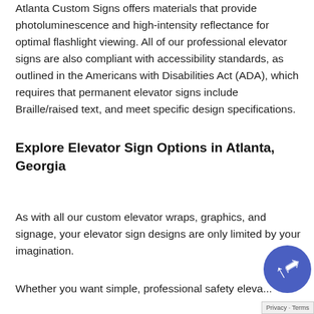Atlanta Custom Signs offers materials that provide photoluminescence and high-intensity reflectance for optimal flashlight viewing. All of our professional elevator signs are also compliant with accessibility standards, as outlined in the Americans with Disabilities Act (ADA), which requires that permanent elevator signs include Braille/raised text, and meet specific design specifications.
Explore Elevator Sign Options in Atlanta, Georgia
As with all our custom elevator wraps, graphics, and signage, your elevator sign designs are only limited by your imagination.
Whether you want simple, professional safety eleva... signs that comply with ADA standards and look...